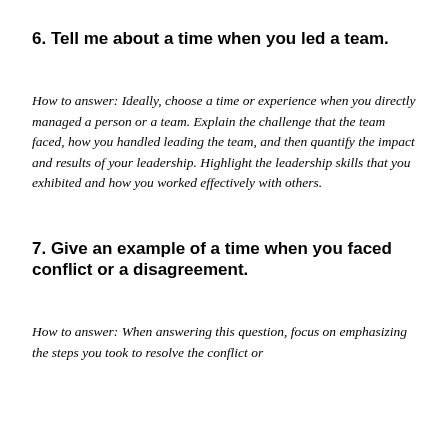6. Tell me about a time when you led a team.
How to answer: Ideally, choose a time or experience when you directly managed a person or a team. Explain the challenge that the team faced, how you handled leading the team, and then quantify the impact and results of your leadership. Highlight the leadership skills that you exhibited and how you worked effectively with others.
7. Give an example of a time when you faced conflict or a disagreement.
How to answer: When answering this question, focus on emphasizing the steps you took to resolve the conflict or